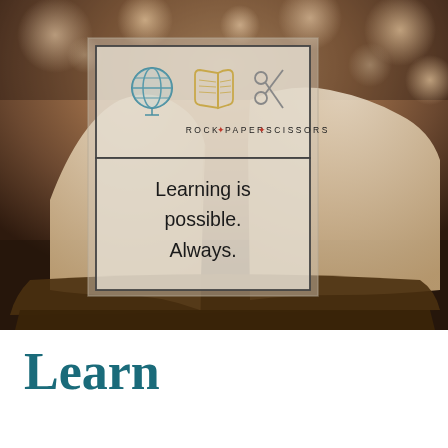[Figure (photo): Background photo of an open book with pages fanning out on a wooden surface, with warm bokeh lights in the background. Overlaid with a semi-transparent box containing the 'Rock Paper Scissors' logo (globe, open book, and scissors icons) and the text 'Learning is possible. Always.']
Learn